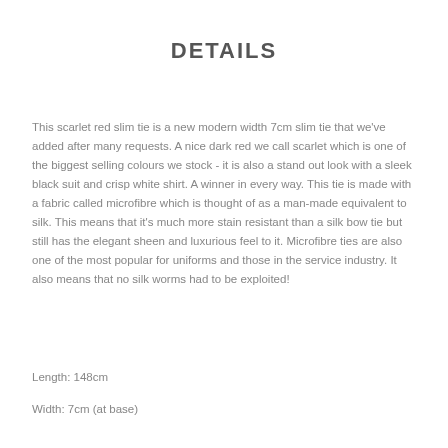DETAILS
This scarlet red slim tie is a new modern width 7cm slim tie that we've added after many requests. A nice dark red we call scarlet which is one of the biggest selling colours we stock - it is also a stand out look with a sleek black suit and crisp white shirt. A winner in every way. This tie is made with a fabric called microfibre which is thought of as a man-made equivalent to silk. This means that it's much more stain resistant than a silk bow tie but still has the elegant sheen and luxurious feel to it. Microfibre ties are also one of the most popular for uniforms and those in the service industry. It also means that no silk worms had to be exploited!
Length: 148cm
Width: 7cm (at base)